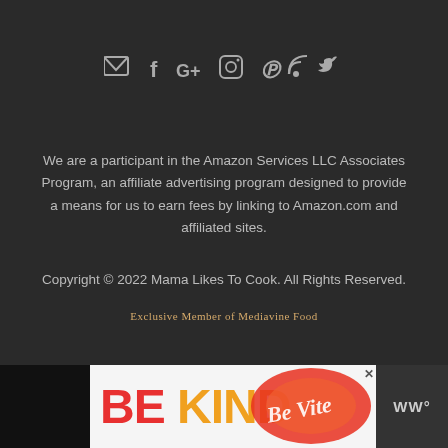[Figure (infographic): Row of social media icons: email, Facebook, Google+, Instagram, Pinterest, RSS, Twitter]
We are a participant in the Amazon Services LLC Associates Program, an affiliate advertising program designed to provide a means for us to earn fees by linking to Amazon.com and affiliated sites.
Copyright © 2022 Mama Likes To Cook. All Rights Reserved.
Exclusive Member of Mediavine Food
[Figure (infographic): Advertisement banner with 'BE KIND' text and decorative cursive graphic on dark background, WW logo on right]